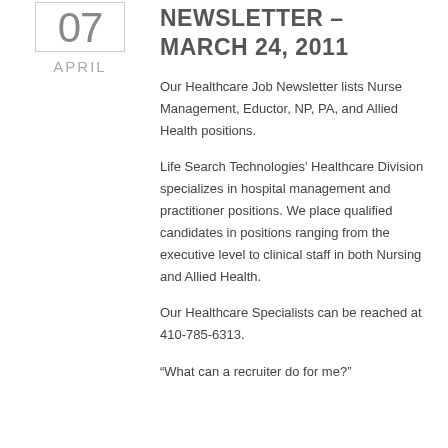NEWSLETTER – MARCH 24, 2011
Our Healthcare Job Newsletter lists Nurse Management, Eductor, NP, PA, and Allied Health positions.
Life Search Technologies' Healthcare Division specializes in hospital management and practitioner positions. We place qualified candidates in positions ranging from the executive level to clinical staff in both Nursing and Allied Health.
Our Healthcare Specialists can be reached at 410-785-6313.
“What can a recruiter do for me?”